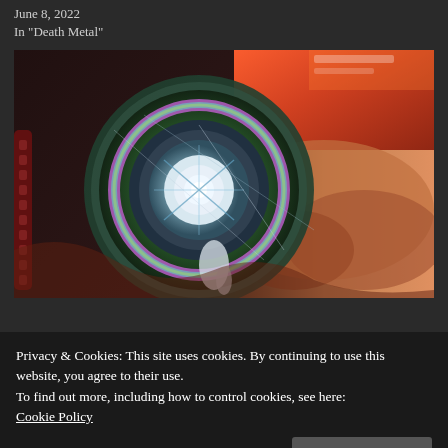June 8, 2022
In "Death Metal"
[Figure (illustration): Album artwork for Inanimate Existence – Clockwork, showing a surreal mechanical eye/lens object with colorful swirling organic and mechanical elements, desert landscape in the background with warm orange and pink tones on the right side.]
Inanimate Existence – Clockwork (Review)
Privacy & Cookies: This site uses cookies. By continuing to use this website, you agree to their use.
To find out more, including how to control cookies, see here:
Cookie Policy
Close and accept
[Figure (illustration): Partial bottom strip showing another album artwork with dark background and abstract green/teal patterns.]